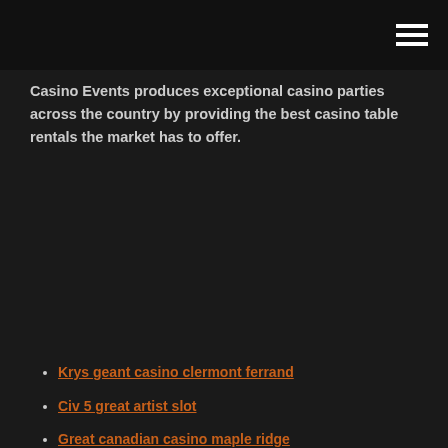Casino Events produces exceptional casino parties across the country by providing the best casino table rentals the market has to offer.
Krys geant casino clermont ferrand
Civ 5 great artist slot
Great canadian casino maple ridge
Lucky balls casino free bonus
Parx casino king of prussia